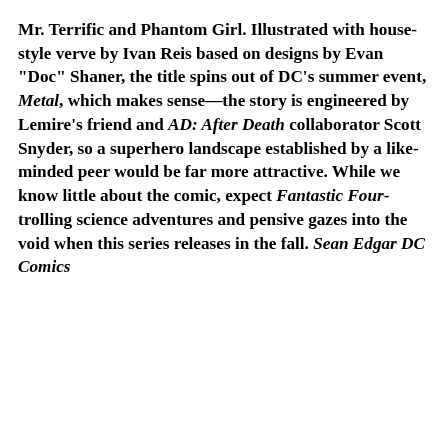Mr. Terrific and Phantom Girl. Illustrated with house-style verve by Ivan Reis based on designs by Evan "Doc" Shaner, the title spins out of DC's summer event, Metal, which makes sense—the story is engineered by Lemire's friend and AD: After Death collaborator Scott Snyder, so a superhero landscape established by a like-minded peer would be far more attractive. While we know little about the comic, expect Fantastic Four-trolling science adventures and pensive gazes into the void when this series releases in the fall. Sean Edgar DC Comics